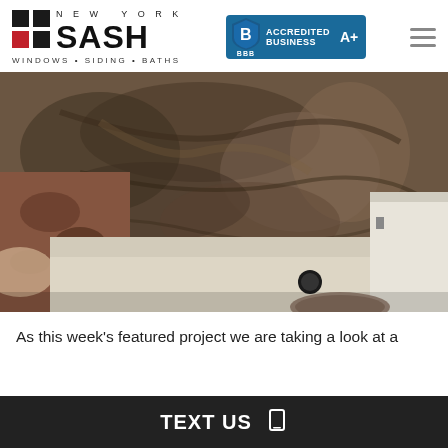[Figure (logo): New York Sash logo with window grid icon, company name, tagline WINDOWS • SIDING • BATHS, and BBB Accredited Business A+ badge]
[Figure (photo): Interior bathroom photo showing a walk-in shower with stone/marble patterned wall panels in dark brown/grey tones, white shower base with circular drain, granite countertop with sink on left, and white bathtub partially visible on right]
As this week's featured project we are taking a look at a
TEXT US